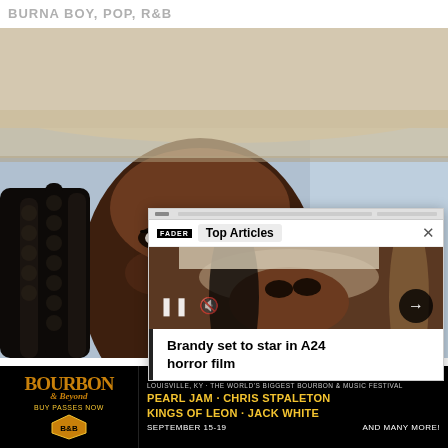BURNA BOY, POP, R&B
[Figure (photo): Close-up portrait of a young Black woman wearing a wide-brim beige hat, with box braids, looking forward. Background is blurred outdoor urban scene.]
[Figure (screenshot): Popup overlay showing 'Top Articles' with FADER logo, pause and mute controls, arrow button, and headline 'Brandy set to star in A24 horror film']
[Figure (infographic): Advertisement banner for Bourbon & Beyond festival in Louisville, KY featuring Pearl Jam, Chris Stpaleton, Kings of Leon, Jack White. September 15-19. Buy passes now.]